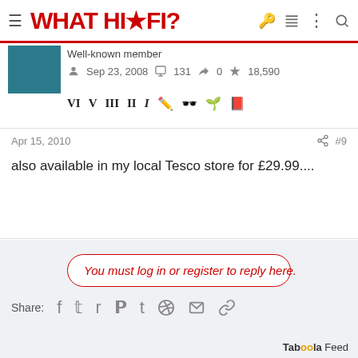WHAT HI-FI?
Well-known member  Sep 23, 2008  131  0  18,590
Apr 15, 2010  #9
also available in my local Tesco store for £29.99....
You must log in or register to reply here.
Share:
Taboola Feed